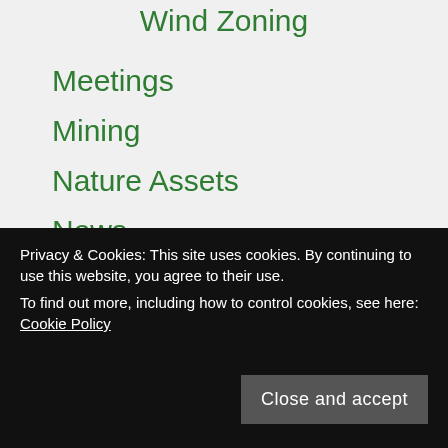Wind Zoning
Meetings
Mining
Nature Assets
News
Local News
More News
Press Release
Wind Farm News
Privacy & Cookies: This site uses cookies. By continuing to use this website, you agree to their use.
To find out more, including how to control cookies, see here: Cookie Policy
Close and accept
Resources